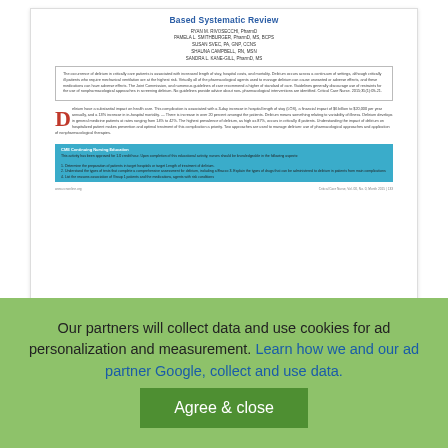[Figure (screenshot): Preview of a medical research paper titled 'Based Systematic Review' with authors including Ryan M. Rivosecchi, Pamela L. Smithburger, Susan Svec, Shauna Campbell, Sandra L. Kane-Gill. Shows abstract box, drop-cap body text starting with 'D', a CME continuing nursing education box, and a footer line.]
Nonpharmacological Interventions to Prevent Delirium: An ... - CiteSeerX
Read more
Our partners will collect data and use cookies for ad personalization and measurement. Learn how we and our ad partner Google, collect and use data.
Agree & close